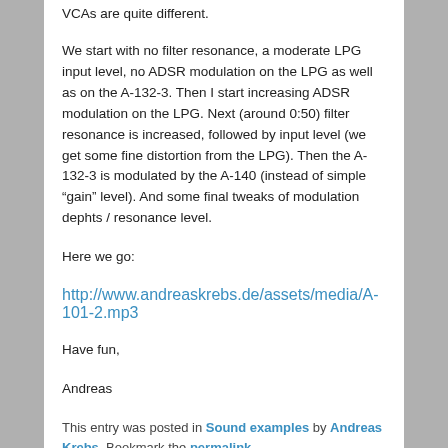VCAs are quite different.
We start with no filter resonance, a moderate LPG input level, no ADSR modulation on the LPG as well as on the A-132-3. Then I start increasing ADSR modulation on the LPG. Next (around 0:50) filter resonance is increased, followed by input level (we get some fine distortion from the LPG). Then the A-132-3 is modulated by the A-140 (instead of simple “gain” level). And some final tweaks of modulation dephts / resonance level.
Here we go:
http://www.andreaskrebs.de/assets/media/A-101-2.mp3
Have fun,
Andreas
This entry was posted in Sound examples by Andreas Krebs. Bookmark the permalink.